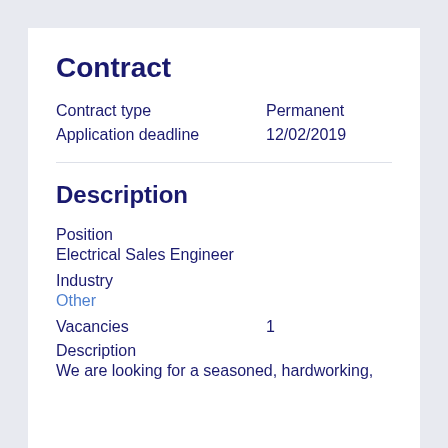Contract
Contract type    Permanent
Application deadline    12/02/2019
Description
Position
Electrical Sales Engineer
Industry
Other
Vacancies    1
Description
We are looking for a seasoned, hardworking,